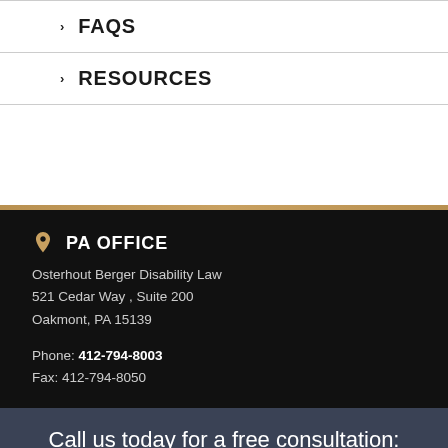FAQS
RESOURCES
PA OFFICE
Osterhout Berger Disability Law
521 Cedar Way , Suite 200
Oakmont, PA 15139
Phone: 412-794-8003
Fax: 412-794-8050
Call us today for a free consultation:
866.438.8773